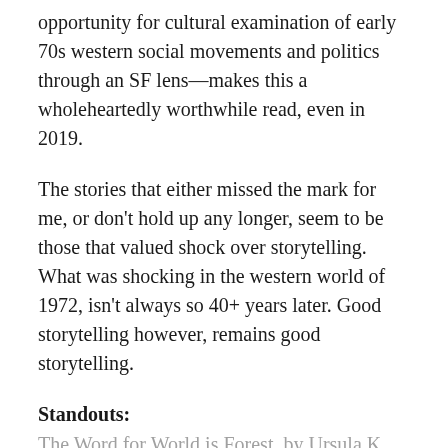opportunity for cultural examination of early 70s western social movements and politics through an SF lens—makes this a wholeheartedly worthwhile read, even in 2019.
The stories that either missed the mark for me, or don't hold up any longer, seem to be those that valued shock over storytelling. What was shocking in the western world of 1972, isn't always so 40+ years later. Good storytelling however, remains good storytelling.
Standouts:
The Word for World is Forest, by Ursula K. Le Guin
The Funeral, by Kate Wilhelm
When it Changed, by Joanna Russ
Monitored Dreams and Strategic Cremations, by Bernard Wolfe